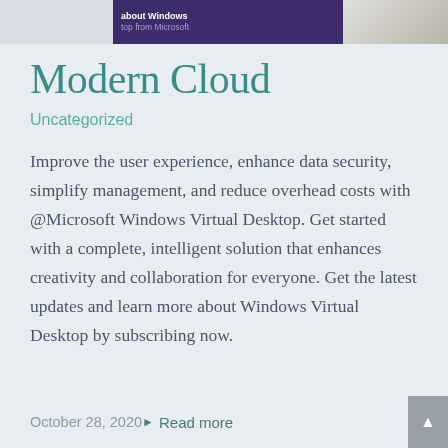[Figure (screenshot): Partial top banner image showing a purple box with white text 'about Windows' and lighter text 'top from Microsoft', with a photo of a person at a desk on the right side.]
Modern Cloud
Uncategorized
Improve the user experience, enhance data security, simplify management, and reduce overhead costs with @Microsoft Windows Virtual Desktop. Get started with a complete, intelligent solution that enhances creativity and collaboration for everyone. Get the latest updates and learn more about Windows Virtual Desktop by subscribing now.
October 28, 2020   Read more